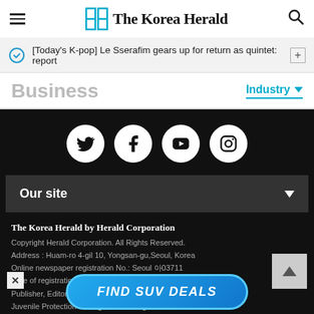The Korea Herald
[Today's K-pop] Le Sserafim gears up for return as quintet: report
Business
Industry
[Figure (logo): Social media icons: Twitter, Facebook, YouTube, Instagram in white circles on black background]
Our site
The Korea Herald by Herald Corporation
Copyright Herald Corporation. All Rights Reserved.
Address : Huam-ro 4-gil 10, Yongsan-gu, Seoul, Korea
Online newspaper registration No.: Seoul 아03711
Date of registration : 2015.04.28
Publisher, Editor : Jeon Chang-hyeop
Juvenile Protection Manager: Ahn Sung-mi
[Figure (infographic): FIND SUV DEALS advertisement banner in blue gradient rounded rectangle]